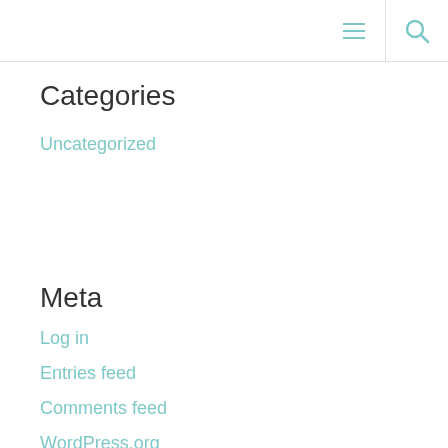[navigation icons: menu and search]
Categories
Uncategorized
Meta
Log in
Entries feed
Comments feed
WordPress.org